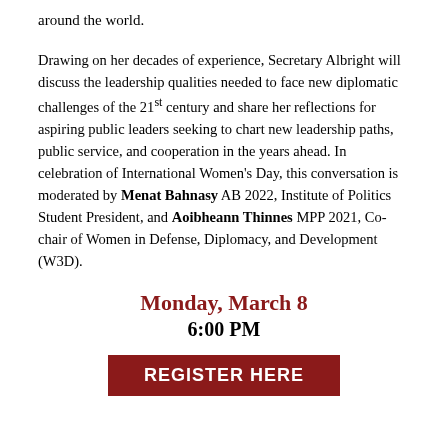around the world.
Drawing on her decades of experience, Secretary Albright will discuss the leadership qualities needed to face new diplomatic challenges of the 21st century and share her reflections for aspiring public leaders seeking to chart new leadership paths, public service, and cooperation in the years ahead. In celebration of International Women's Day, this conversation is moderated by Menat Bahnasy AB 2022, Institute of Politics Student President, and Aoibheann Thinnes MPP 2021, Co-chair of Women in Defense, Diplomacy, and Development (W3D).
Monday, March 8
6:00 PM
REGISTER HERE